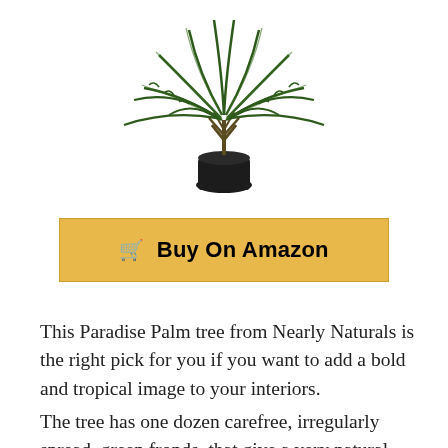[Figure (photo): Artificial paradise palm tree in a dark/black pot, photographed against a white background. The tree has multiple green arching fronds spreading outward from a central base.]
🛒 Buy On Amazon
This Paradise Palm tree from Nearly Naturals is the right pick for you if you want to add a bold and tropical image to your interiors.
The tree has one dozen carefree, irregularly spread, green fronds, that give a very natural